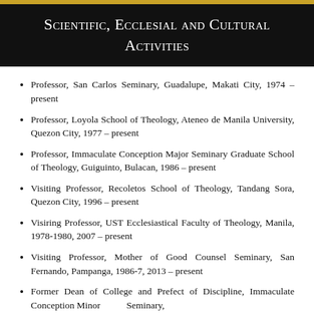Scientific, Ecclesial and Cultural Activities
Professor, San Carlos Seminary, Guadalupe, Makati City, 1974 – present
Professor, Loyola School of Theology, Ateneo de Manila University, Quezon City, 1977 – present
Professor, Immaculate Conception Major Seminary Graduate School of Theology, Guiguinto, Bulacan, 1986 – present
Visiting Professor, Recoletos School of Theology, Tandang Sora, Quezon City, 1996 – present
Visiring Professor, UST Ecclesiastical Faculty of Theology, Manila, 1978-1980, 2007 – present
Visiting Professor, Mother of Good Counsel Seminary, San Fernando, Pampanga, 1986-7, 2013 – present
Former Dean of College and Prefect of Discipline, Immaculate Conception Minor Seminary,